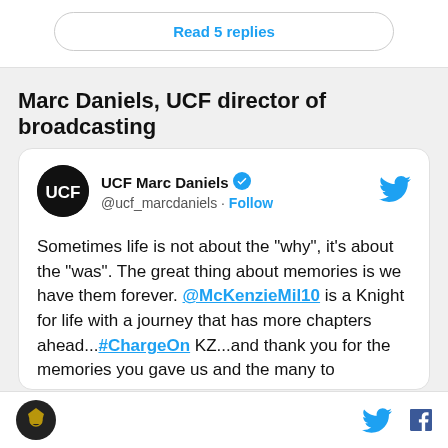Read 5 replies
Marc Daniels, UCF director of broadcasting
[Figure (screenshot): Embedded tweet from @ucf_marcdaniels (UCF Marc Daniels, verified account). Tweet text: Sometimes life is not about the “why”, it’s about the “was”. The great thing about memories is we have them forever. @McKenzieMil10 is a Knight for life with a journey that has more chapters ahead...#ChargeOn KZ...and thank you for the memories you gave us and the many to]